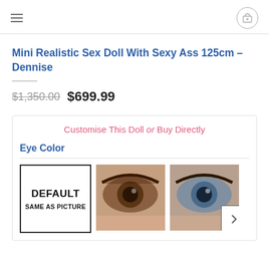Navigation header with hamburger menu and cart icon
Mini Realistic Sex Doll With Sexy Ass 125cm – Dennise
$1,350.00  $699.99
Customise This Doll or Buy Directly
Eye Color
[Figure (photo): Eye color selection options: DEFAULT SAME AS PICTURE box, brown eye photo, blue eye photo]